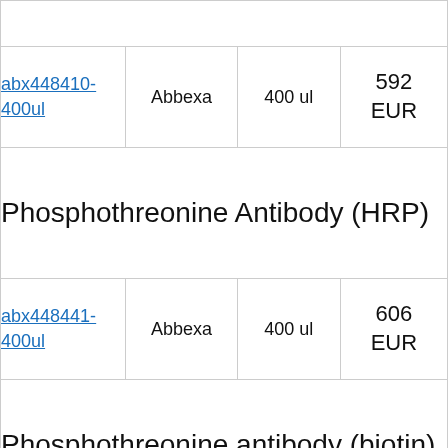| Product | Supplier | Volume | Price |
| --- | --- | --- | --- |
| abx448410-400ul | Abbexa | 400 ul | 592 EUR |
| Phosphothreonine Antibody (HRP) |  |  |  |
| abx448441-400ul | Abbexa | 400 ul | 606 EUR |
| Phosphothreonine antibody (biotin) |  |  |  |
| 60R-PR002bt | Fitzgerald | 100 ug | 840 EUR |